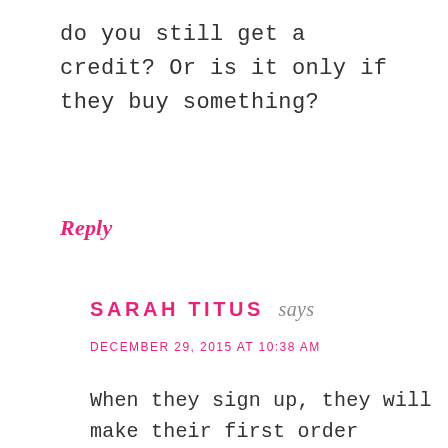do you still get a credit? Or is it only if they buy something?
Reply
SARAH TITUS says
DECEMBER 29, 2015 AT 10:38 AM
When they sign up, they will make their first order because they get $10 off, so I’m not sure it even happens to sign up without purchasing something…